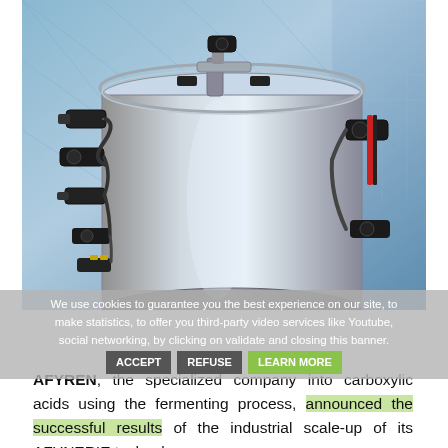[Figure (photo): Close-up photograph of an industrial bioreactor or fermentation vessel — a large stainless steel cylindrical tank with multiple black sensor/valve fittings, pipes, and cables attached. Industrial facility background with blue lighting.]
We use cookies to guarantee you the best experience on our site, to make statistics, to offer you third-party video services like Youtube, social networking, by clicking on validate and closing this banner.
AFYREN, the specialized company into carboxylic acids using the fermenting process, announced the successful results of the industrial scale-up of its AFYNERIE technology. The Company stands at the Bioôle of Clermont...